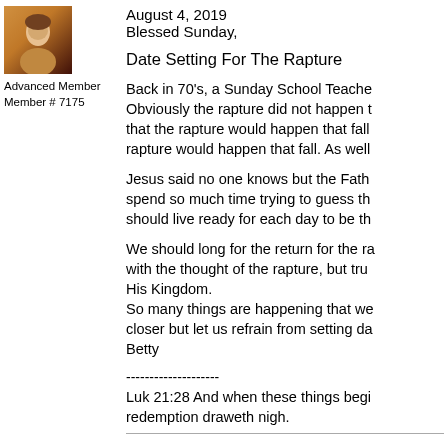[Figure (illustration): Small avatar/profile image of a person, warm orange-brown tones]
Advanced Member
Member # 7175
August 4, 2019
Blessed Sunday,
Date Setting For The Rapture
Back in 70's, a Sunday School Teache... Obviously the rapture did not happen t... that the rapture would happen that fall... rapture would happen that fall. As well...
Jesus said no one knows but the Fath... spend so much time trying to guess th... should live ready for each day to be th...
We should long for the return for the ra... with the thought of the rapture, but tru... His Kingdom.
So many things are happening that we... closer but let us refrain from setting da...
Betty
--------------------
Luk 21:28 And when these things begi... redemption draweth nigh.